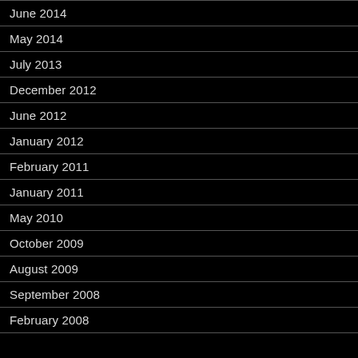June 2014
May 2014
July 2013
December 2012
June 2012
January 2012
February 2011
January 2011
May 2010
October 2009
August 2009
September 2008
February 2008